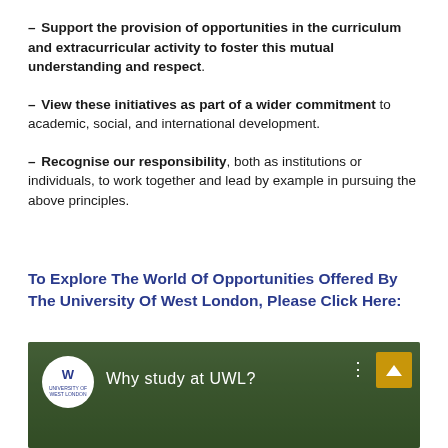– Support the provision of opportunities in the curriculum and extracurricular activity to foster this mutual understanding and respect.
– View these initiatives as part of a wider commitment to academic, social, and international development.
– Recognise our responsibility, both as institutions or individuals, to work together and lead by example in pursuing the above principles.
To Explore The World Of Opportunities Offered By The University Of West London, Please Click Here:
[Figure (screenshot): Video thumbnail for 'Why study at UWL?' with University of West London logo on a dark aerial campus background, three-dot menu icon, and a yellow up-arrow button.]